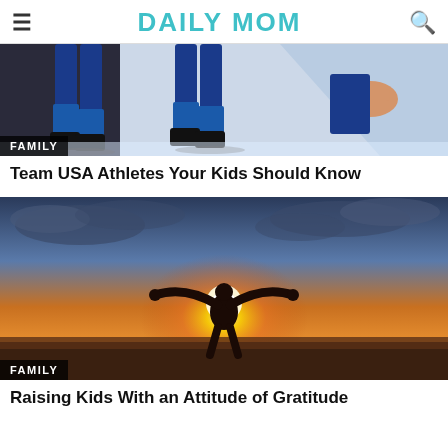DAILY MOM
[Figure (photo): Speed skaters in blue suits racing on ice, viewed from low angle showing legs and skates, with FAMILY badge overlay]
Team USA Athletes Your Kids Should Know
[Figure (photo): Silhouette of a person with arms raised wide against a dramatic orange and golden sunset sky with clouds, with FAMILY badge overlay]
Raising Kids With an Attitude of Gratitude